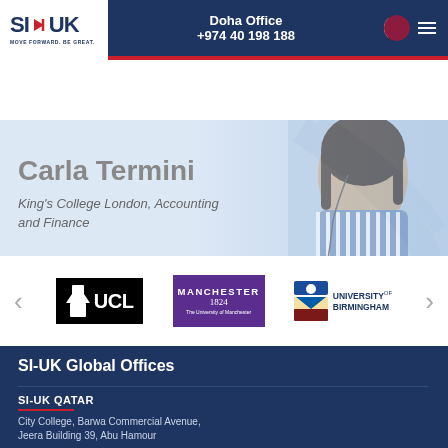SI-UK | Doha Office | +974 40 198 188
[Figure (photo): Hero banner with light blue background showing student with striped shirt and backpack, holding a phone. Text overlay reads 'Carla Termini' and 'King's College London, Accounting and Finance']
Carla Termini
King's College London, Accounting and Finance
[Figure (logo): University logos carousel showing UCL (black background), University of Manchester (purple background), and University of Birmingham with navigation arrows on each side]
SI-UK Global Offices
SI-UK QATAR
City College, Barwa Commercial Avenue,
Jeera Building 39, Abu Hamour